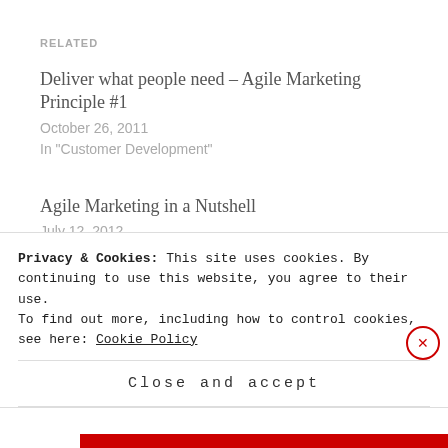RELATED
Deliver what people need – Agile Marketing Principle #1
October 26, 2011
In "Customer Development"
Agile Marketing in a Nutshell
July 12, 2012
In "Agile"
Always Build Content – Agile Marketing Priniciple #5
January 25, 2012
Privacy & Cookies: This site uses cookies. By continuing to use this website, you agree to their use.
To find out more, including how to control cookies, see here: Cookie Policy
Close and accept